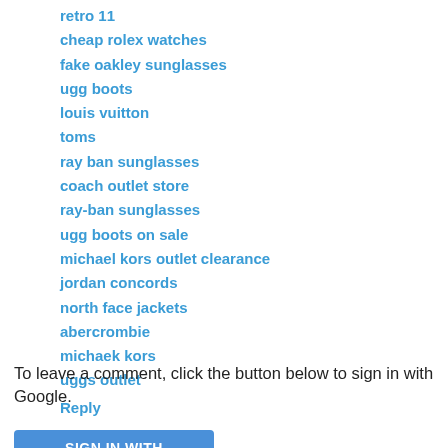retro 11
cheap rolex watches
fake oakley sunglasses
ugg boots
louis vuitton
toms
ray ban sunglasses
coach outlet store
ray-ban sunglasses
ugg boots on sale
michael kors outlet clearance
jordan concords
north face jackets
abercrombie
michaek kors
uggs outlet
Reply
To leave a comment, click the button below to sign in with Google.
SIGN IN WITH GOOGLE